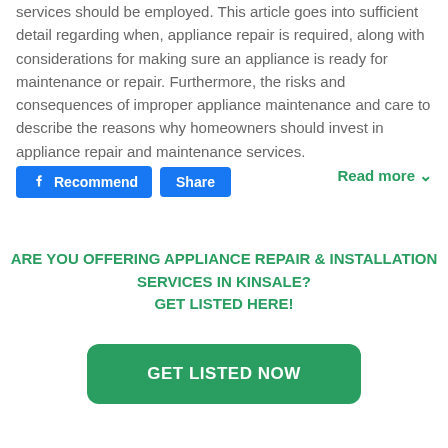services should be employed. This article goes into sufficient detail regarding when, appliance repair is required, along with considerations for making sure an appliance is ready for maintenance or repair. Furthermore, the risks and consequences of improper appliance maintenance and care to describe the reasons why homeowners should invest in appliance repair and maintenance services.
Recommend  Share  Read more
ARE YOU OFFERING APPLIANCE REPAIR & INSTALLATION SERVICES IN KINSALE? GET LISTED HERE!
GET LISTED NOW